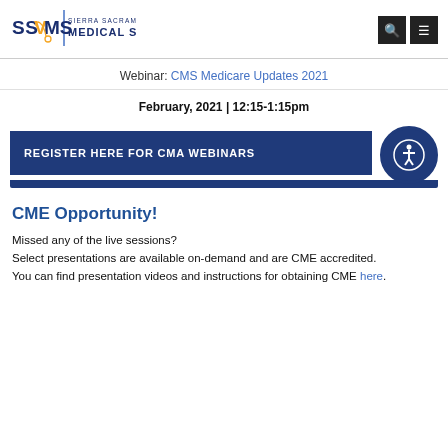[Figure (logo): Sierra Sacramento Valley Medical Society logo with SSVMS text and stethoscope icon]
Webinar: CMS Medicare Updates 2021
February, 2021 | 12:15-1:15pm
[Figure (infographic): Register Here for CMA Webinars button with accessibility icon]
CME Opportunity!
Missed any of the live sessions?
Select presentations are available on-demand and are CME accredited.
You can find presentation videos and instructions for obtaining CME here.